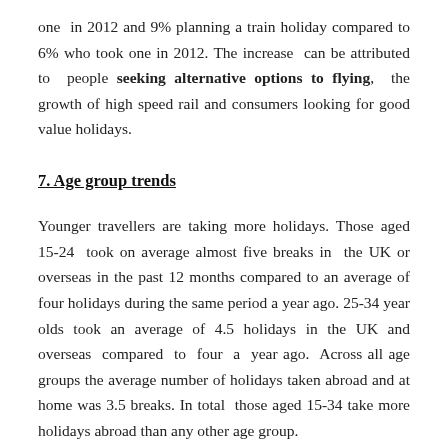one in 2012 and 9% planning a train holiday compared to 6% who took one in 2012. The increase can be attributed to people seeking alternative options to flying, the growth of high speed rail and consumers looking for good value holidays.
7. Age group trends
Younger travellers are taking more holidays. Those aged 15-24 took on average almost five breaks in the UK or overseas in the past 12 months compared to an average of four holidays during the same period a year ago. 25-34 year olds took an average of 4.5 holidays in the UK and overseas compared to four a year ago. Across all age groups the average number of holidays taken abroad and at home was 3.5 breaks. In total those aged 15-34 take more holidays abroad than any other age group.